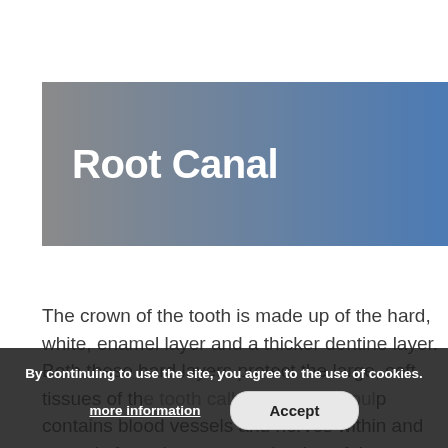Root Canal
The crown of the tooth is made up of the hard, white, enamel layer and a thicker dentine layer. Both these hard layers protect the large, soft tissues of the tooth called the dental pulp contains blood vessels and nerves within and extends from the crown to the tips of the root or
By continuing to use the site, you agree to the use of cookies. more information  Accept